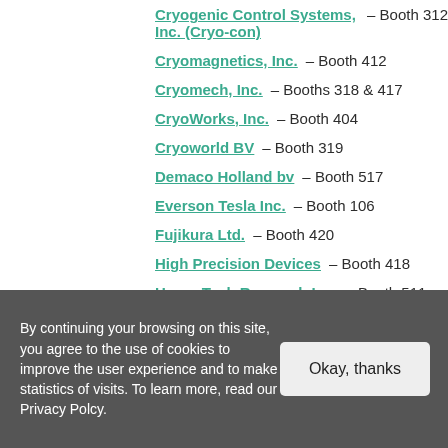Cryogenic Control Systems, Inc. (Cryo-con) – Booth 312
Cryomagnetics, Inc. – Booth 412
Cryomech, Inc. – Booths 318 & 417
CryoWorks, Inc. – Booth 404
Cryoworld BV – Booth 319
Demaco Holland bv – Booth 517
Everson Tesla Inc. – Booth 106
Fujikura Ltd. – Booth 420
High Precision Devices – Booth 418
Hyper Tech Research Inc. – Booth 511
HYPRES, Inc. – Booth 526
ICE Oxford Ltd – Booth 116
By continuing your browsing on this site, you agree to the use of cookies to improve the user experience and to make statistics of visits. To learn more, read our Privacy Polcy.